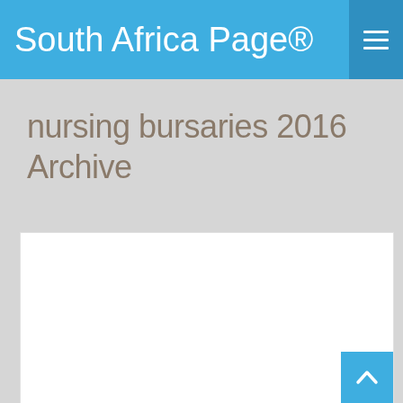South Africa Page®
nursing bursaries 2016 Archive
[Figure (other): White content card area, empty]